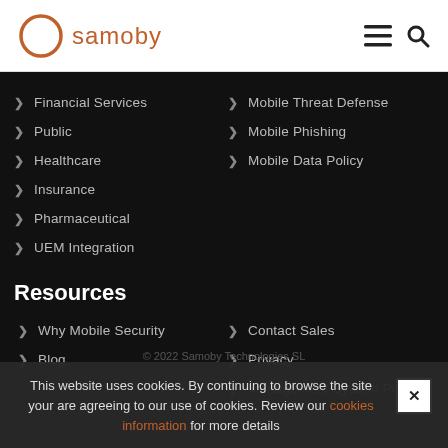samoby
Financial Services
Mobile Threat Defense
Public
Mobile Phishing
Healthcare
Mobile Data Policy
Insurance
Pharmaceutical
UEM Integration
Resources
Why Mobile Security
Contact Sales
Blog
Privacy
Management System Policy
This website uses cookies. By continuing to browse the site your are agreeing to our use of cookies. Review our cookies information for more details
© 2022 Samoby Technologies SL